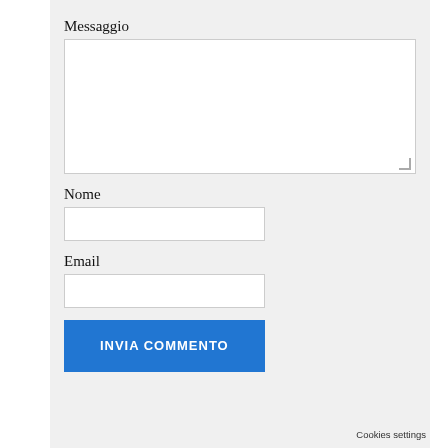Messaggio
[Figure (screenshot): Textarea input field for message (Messaggio)]
Nome
[Figure (screenshot): Text input field for Nome]
Email
[Figure (screenshot): Text input field for Email]
[Figure (screenshot): Submit button labeled INVIA COMMENTO]
Cookies settings